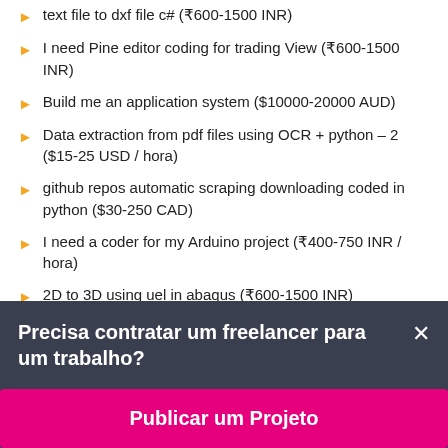text file to dxf file c# (₹600-1500 INR)
I need Pine editor coding for trading View (₹600-1500 INR)
Build me an application system ($10000-20000 AUD)
Data extraction from pdf files using OCR + python – 2 ($15-25 USD / hora)
github repos automatic scraping downloading coded in python ($30-250 CAD)
I need a coder for my Arduino project (₹400-750 INR / hora)
2D to 3D using uel in abaqus (₹600-1500 INR)
Precisa contratar um freelancer para um trabalho?
Publicar um Projeto